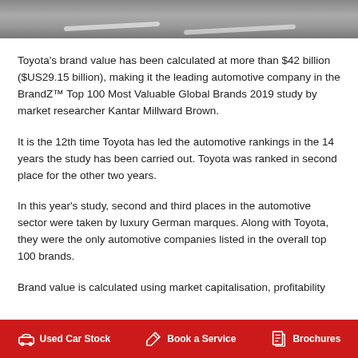[Figure (photo): Top portion of a road surface photographed from above, showing road markings/stripes on grey asphalt.]
Toyota's brand value has been calculated at more than $42 billion ($US29.15 billion), making it the leading automotive company in the BrandZ™ Top 100 Most Valuable Global Brands 2019 study by market researcher Kantar Millward Brown.
It is the 12th time Toyota has led the automotive rankings in the 14 years the study has been carried out. Toyota was ranked in second place for the other two years.
In this year's study, second and third places in the automotive sector were taken by luxury German marques. Along with Toyota, they were the only automotive companies listed in the overall top 100 brands.
Brand value is calculated using market capitalisation, profitability
Used Car Stock   Book a Service   Brochures